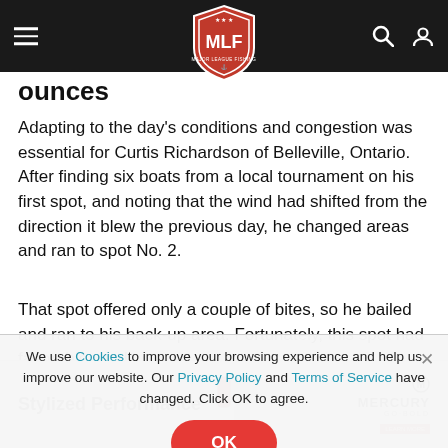MLF Major League Fishing navigation bar
ounces
Adapting to the day's conditions and congestion was essential for Curtis Richardson of Belleville, Ontario. After finding six boats from a local tournament on his first spot, and noting that the wind had shifted from the direction it blew the previous day, he changed areas and ran to spot No. 2.
That spot offered only a couple of bites, so he bailed and ran to his back-up area. Fortunately, this spot had favorable wind,
We use Cookies to improve your browsing experience and help us improve our website. Our Privacy Policy and Terms of Service have changed. Click OK to agree.
[Figure (logo): Mercury Marine Stylized Performance advertisement banner at bottom of page]